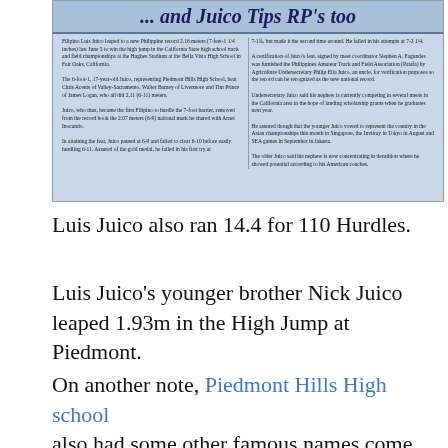[Figure (photo): Scanned newspaper clipping with headline '... and Juico Tips RP's too' and two-column article text about Filipino Luis Juico leaping to a new Philippine record 2.16 meters (7-feet-1 1/4 inches) last June 5 to win the high jump in the California State high school track and field championships.]
Luis Juico also ran 14.4 for 110 Hurdles.
Luis Juico's younger brother Nick Juico leaped 1.93m in the High Jump at Piedmont.
On another note, Piedmont Hills High school also had some other famous names come out, including former world champion in 200m and 2000 Olympic Silver Medalist Ato Boldon of